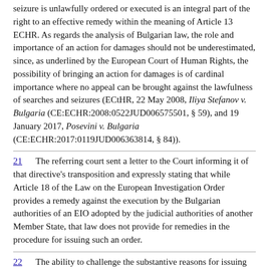seizure is unlawfully ordered or executed is an integral part of the right to an effective remedy within the meaning of Article 13 ECHR. As regards the analysis of Bulgarian law, the role and importance of an action for damages should not be underestimated, since, as underlined by the European Court of Human Rights, the possibility of bringing an action for damages is of cardinal importance where no appeal can be brought against the lawfulness of searches and seizures (ECtHR, 22 May 2008, Iliya Stefanov v. Bulgaria (CE:ECHR:2008:0522JUD006575501, § 59), and 19 January 2017, Posevini v. Bulgaria (CE:ECHR:2017:0119JUD006363814, § 84)).
21   The referring court sent a letter to the Court informing it of that directive's transposition and expressly stating that while Article 18 of the Law on the European Investigation Order provides a remedy against the execution by the Bulgarian authorities of an EIO adopted by the judicial authorities of another Member State, that law does not provide for remedies in the procedure for issuing such an order.
22   The ability to challenge the substantive reasons for issuing an EIO recognised in Article 14 of Directive 2014/41 and, more broadly, the safeguards envisaged in that provision are not the only